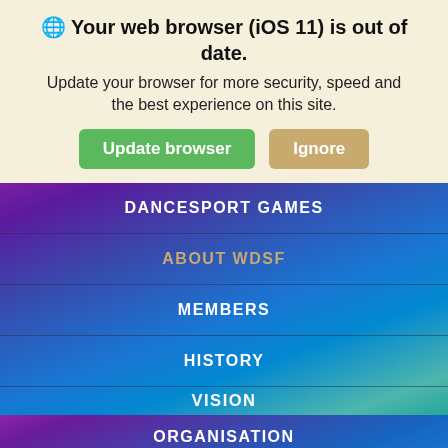🌐 Your web browser (iOS 11) is out of date. Update your browser for more security, speed and the best experience on this site.
Update browser | Ignore
DANCESPORT GAMES
ABOUT WDSF
MEMBERS
HISTORY
VISION
ORGANISATION
COMMISSIONS
PROFESSIONAL DIVISION